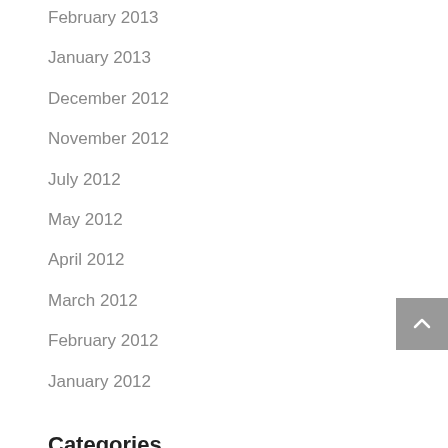February 2013
January 2013
December 2012
November 2012
July 2012
May 2012
April 2012
March 2012
February 2012
January 2012
Categories
Adventure
blog post
Blonde